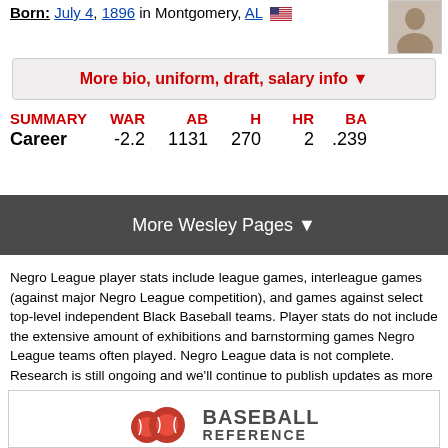Born: July 4, 1896 in Montgomery, AL 🇺🇸
More bio, uniform, draft, salary info ▼
| SUMMARY | WAR | AB | H | HR | BA |
| --- | --- | --- | --- | --- | --- |
| Career | -2.2 | 1131 | 270 | 2 | .239 |
More Wesley Pages ▼
Negro League player stats include league games, interleague games (against major Negro League competition), and games against select top-level independent Black Baseball teams. Player stats do not include the extensive amount of exhibitions and barnstorming games Negro League teams often played. Negro League data is not complete. Research is still ongoing and we'll continue to publish updates as more information becomes available. More about data coverage
[Figure (logo): Baseball Reference logo with baseball graphic and BASEBALL REFERENCE text]
Sign up for the free Baseball Reference newsletter and